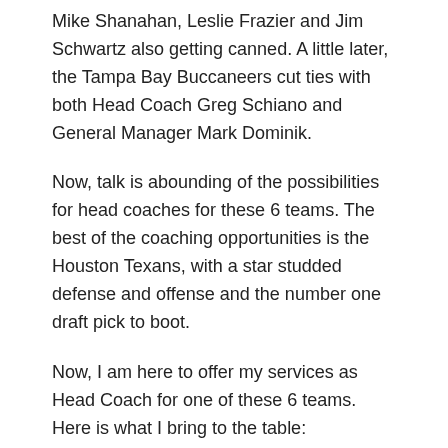Mike Shanahan, Leslie Frazier and Jim Schwartz also getting canned. A little later, the Tampa Bay Buccaneers cut ties with both Head Coach Greg Schiano and General Manager Mark Dominik.
Now, talk is abounding of the possibilities for head coaches for these 6 teams. The best of the coaching opportunities is the Houston Texans, with a star studded defense and offense and the number one draft pick to boot.
Now, I am here to offer my services as Head Coach for one of these 6 teams. Here is what I bring to the table: